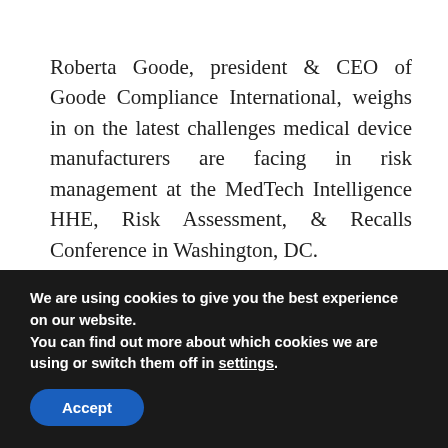Roberta Goode, president & CEO of Goode Compliance International, weighs in on the latest challenges medical device manufacturers are facing in risk management at the MedTech Intelligence HHE, Risk Assessment, & Recalls Conference in Washington, DC.
[Figure (logo): MedTech Intelligence logo — a square graphic with blue border, olive/green M shape on teal background, white M letterform in center, blue block at bottom left]
We are using cookies to give you the best experience on our website.
You can find out more about which cookies we are using or switch them off in settings.